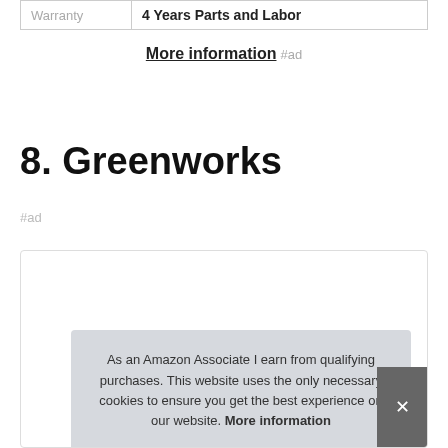| Warranty | 4 Years Parts and Labor |
| --- | --- |
More information #ad
8. Greenworks
#ad
As an Amazon Associate I earn from qualifying purchases. This website uses the only necessary cookies to ensure you get the best experience on our website. More information